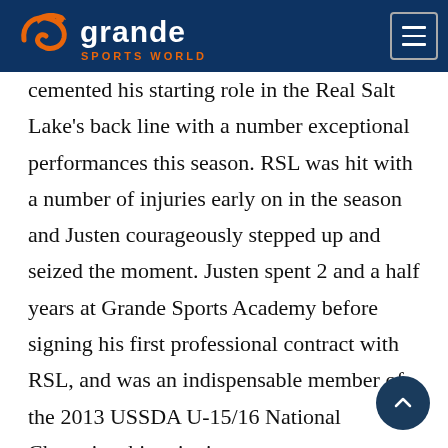Grande Sports World
cemented his starting role in the Real Salt Lake's back line with a number exceptional performances this season. RSL was hit with a number of injuries early on in the season and Justen courageously stepped up and seized the moment. Justen spent 2 and a half years at Grande Sports Academy before signing his first professional contract with RSL, and was an indispensable member of the 2013 USSDA U-15/16 National Championship winning team,